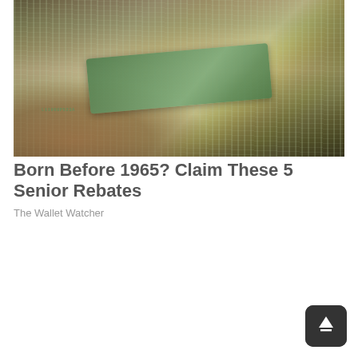[Figure (photo): A hand holding a thick stack of US $100 bills, photographed close-up showing the green currency notes fanned out. Serial number L11908P523A is partially visible on one bill.]
Born Before 1965? Claim These 5 Senior Rebates
The Wallet Watcher